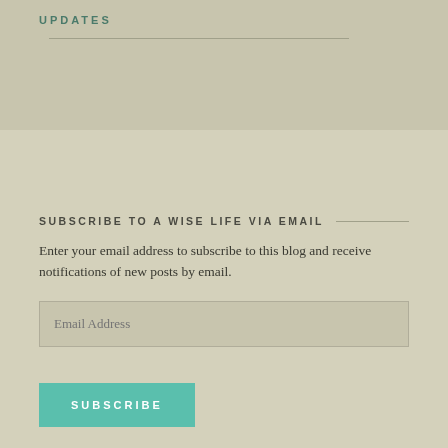UPDATES
SUBSCRIBE TO A WISE LIFE VIA EMAIL
Enter your email address to subscribe to this blog and receive notifications of new posts by email.
Email Address
SUBSCRIBE
Join 1,513 other subscribers